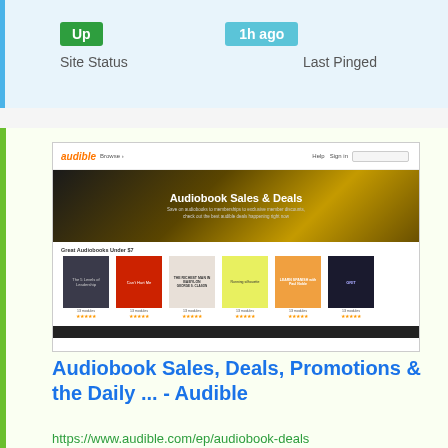Up
1h ago
Site Status
Last Pinged
[Figure (screenshot): Screenshot of Audible website showing Audiobook Sales & Deals page with book covers and navigation bar]
Audiobook Sales, Deals, Promotions & the Daily ... - Audible
https://www.audible.com/ep/audiobook-deals